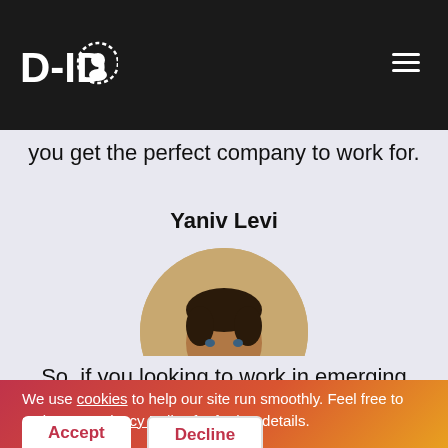[Figure (logo): D-ID logo in white on dark background, top left]
A super-talented and professional team, always sharing knowledge and willing to help out. Add this to a friendly and innovative atmosphere and you get the perfect company to work for.
Yaniv Levi
[Figure (photo): Circular headshot photo of Yaniv Levi, a man with dark hair and beard, smiling]
So, if you looking to work in emerging
We use cookies to help our site run smoothly. Feel free to review our Privacy Policy for further details.
Accept
Decline